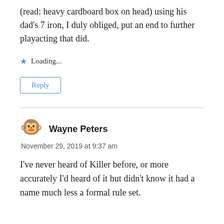(read: heavy cardboard box on head) using his dad's 7 iron, I duly obliged, put an end to further playacting that did.
★ Loading...
Reply
Wayne Peters
November 29, 2019 at 9:37 am
I've never heard of Killer before, or more accurately I'd heard of it but didn't know it had a name much less a formal rule set.